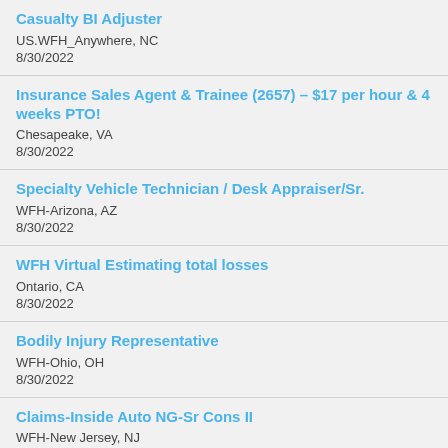Casualty BI Adjuster
US.WFH_Anywhere, NC
8/30/2022
Insurance Sales Agent & Trainee (2657) – $17 per hour & 4 weeks PTO!
Chesapeake, VA
8/30/2022
Specialty Vehicle Technician / Desk Appraiser/Sr.
WFH-Arizona, AZ
8/30/2022
WFH Virtual Estimating total losses
Ontario, CA
8/30/2022
Bodily Injury Representative
WFH-Ohio, OH
8/30/2022
Claims-Inside Auto NG-Sr Cons II
WFH-New Jersey, NJ
8/30/2022